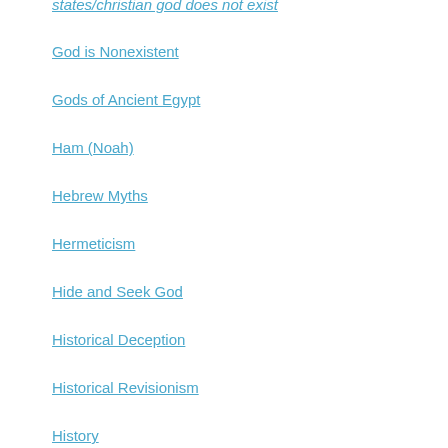states/christian god does not exist
God is Nonexistent
Gods of Ancient Egypt
Ham (Noah)
Hebrew Myths
Hermeticism
Hide and Seek God
Historical Deception
Historical Revisionism
History
Bolshevik Revolution